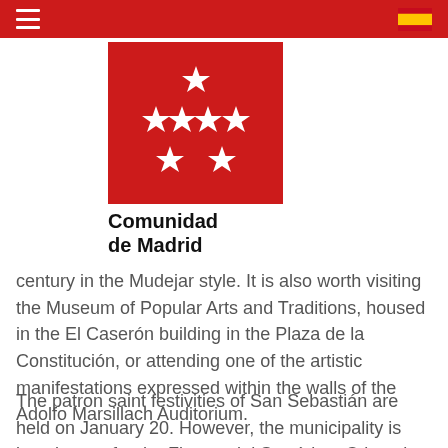Comunidad de Madrid website header with hamburger menu and Spanish flag
[Figure (logo): Comunidad de Madrid logo: red square with seven white stars arranged in a cross/star pattern, with text 'Comunidad de Madrid' below in bold black]
century in the Mudejar style. It is also worth visiting the Museum of Popular Arts and Traditions, housed in the El Caserón building in the Plaza de la Constitución, or attending one of the artistic manifestations expressed within the walls of the Adolfo Marsillach Auditorium.
The patron saint festivities of San Sebastián are held on January 20. However, the municipality is best known for the Fiestas del Santísimo Cristo de los Remedios (from August 25 to 31), declared a Festival of National Tourist Interest. Like the Sanfermines, the "chupinazo" and the proclamation from the balcony by some personality set in motion a frenetic week of